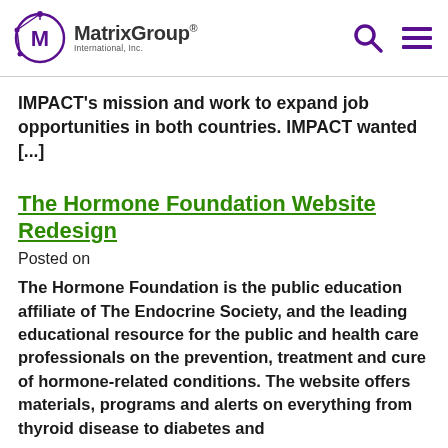MatrixGroup International, Inc.
IMPACT's mission and work to expand job opportunities in both countries. IMPACT wanted [...]
The Hormone Foundation Website Redesign
Posted on
The Hormone Foundation is the public education affiliate of The Endocrine Society, and the leading educational resource for the public and health care professionals on the prevention, treatment and cure of hormone-related conditions. The website offers materials, programs and alerts on everything from thyroid disease to diabetes and